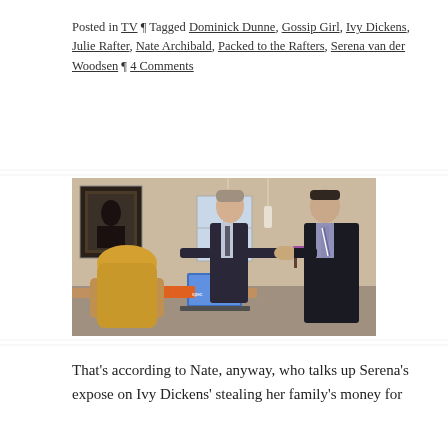Posted in TV ¶ Tagged Dominick Dunne, Gossip Girl, Ivy Dickens, Julie Rafter, Nate Archibald, Packed to the Rafters, Serena van der Woodsen ¶ 4 Comments
[Figure (photo): A TV scene showing three people in an office/apartment setting: a blonde woman seated at a desk on the left, a young man in a dark suit standing in the center shaking hands with an older man in a dark suit on the right. A laptop and papers are on the desk. Pendant lights hang from the ceiling. A framed black and white photo is visible on the wall.]
That's according to Nate, anyway, who talks up Serena's expose on Ivy Dickens' stealing her family's money for